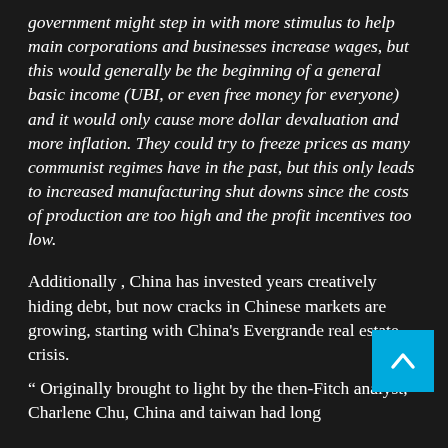government might step in with more stimulus to help main corporations and businesses increase wages, but this would generally be the beginning of a general basic income (UBI, or even free money for everyone) and it would only cause more dollar devaluation and more inflation. They could try to freeze prices as many communist regimes have in the past, but this only leads to increased manufacturing shut downs since the costs of production are too high and the profit incentives too low.
Additionally, China has invested years creatively hiding debt, but now cracks in Chinese markets are growing, starting with China's Evergrande real estate crisis.
“ Originally brought to light by the then-Fitch analyst, Charlene Chu, China and taiwan had long